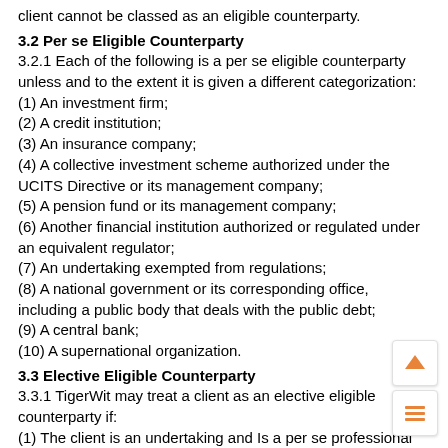client cannot be classed as an eligible counterparty.
3.2 Per se Eligible Counterparty
3.2.1 Each of the following is a per se eligible counterparty unless and to the extent it is given a different categorization:
(1) An investment firm;
(2) A credit institution;
(3) An insurance company;
(4) A collective investment scheme authorized under the UCITS Directive or its management company;
(5) A pension fund or its management company;
(6) Another financial institution authorized or regulated under an equivalent regulator;
(7) An undertaking exempted from regulations;
(8) A national government or its corresponding office, including a public body that deals with the public debt;
(9) A central bank;
(10) A supernational organization.
3.3 Elective Eligible Counterparty
3.3.1 TigerWit may treat a client as an elective eligible counterparty if:
(1) The client is an undertaking and Is a per se professional client; or
(2) The Firm has obtained express confirmation from the